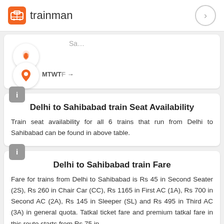trainman
[Figure (screenshot): Train seat availability UI card showing seat icon, MTWTF days, and location pin icon with Sa... label]
Delhi to Sahibabad train Seat Availability
Train seat availability for all 6 trains that run from Delhi to Sahibabad can be found in above table.
Delhi to Sahibabad train Fare
Fare for trains from Delhi to Sahibabad is Rs 45 in Second Seater (2S), Rs 260 in Chair Car (CC), Rs 1165 in First AC (1A), Rs 700 in Second AC (2A), Rs 145 in Sleeper (SL) and Rs 495 in Third AC (3A) in general quota. Tatkal ticket fare and premium tatkal fare in this route starts from Rs 75 in